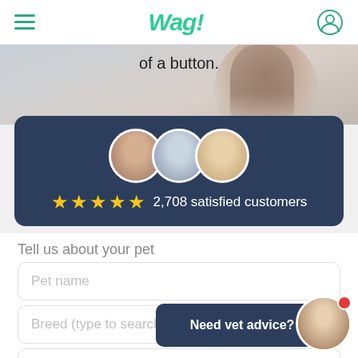Wag!
of a button.
[Figure (illustration): Three circular avatar photos of veterinary professionals arranged overlapping, with 5 gold stars and text '2,708 satisfied customers' on a dark blue card background]
Tell us about your pet
Pet name
Breed (type to search)
Age
Weight
Need vet advice?